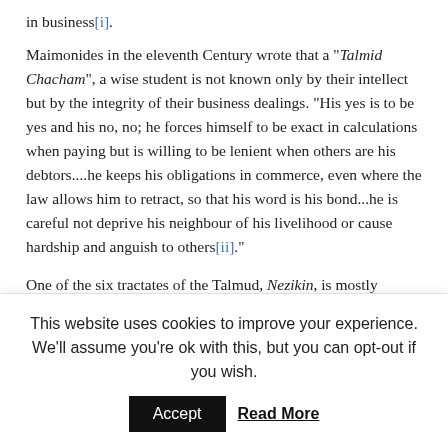in business[i].
Maimonides in the eleventh Century wrote that a "Talmid Chacham", a wise student is not known only by their intellect but by the integrity of their business dealings. "His yes is to be yes and his no, no; he forces himself to be exact in calculations when paying but is willing to be lenient when others are his debtors....he keeps his obligations in commerce, even where the law allows him to retract, so that his word is his bond...he is careful not deprive his neighbour of his livelihood or cause hardship and anguish to others[ii]."
One of the six tractates of the Talmud, Nezikin, is mostly dedicated to the way in which we do business – with the sections Bava Kamma being about our obligations to be
This website uses cookies to improve your experience. We'll assume you're ok with this, but you can opt-out if you wish.